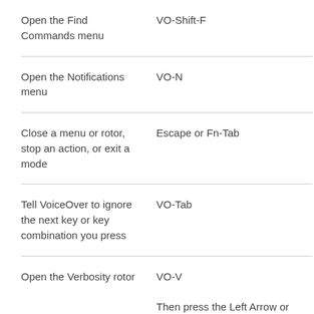| Action | Shortcut |
| --- | --- |
| Open the Find Commands menu | VO-Shift-F |
| Open the Notifications menu | VO-N |
| Close a menu or rotor, stop an action, or exit a mode | Escape or Fn-Tab |
| Tell VoiceOver to ignore the next key or key combination you press | VO-Tab |
| Open the Verbosity rotor | VO-V
Then press the Left Arrow or Right Arrow key to |